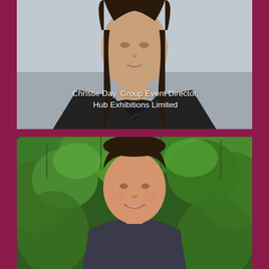[Figure (photo): Portrait photo of a woman with long dark hair wearing a dark ruffled top, photographed against a gray background. Text overlay reads: Christie Day, Group Event Director, Hub Exhibitions Limited]
Christie Day, Group Event Director, Hub Exhibitions Limited
[Figure (photo): Portrait photo of a young woman with dark hair pulled back, smiling, photographed against a background of green leafy plants/ivy]